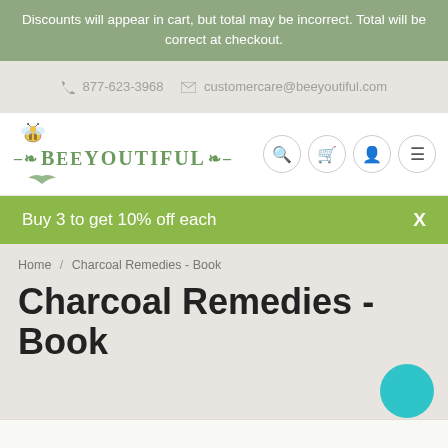Discounts will appear in cart, but total may be incorrect. Total will be correct at checkout.
877-623-3968   customercare@beeyoutiful.com
[Figure (logo): Beeyoutiful brand logo with bee illustration and decorative leaf elements]
Buy 3 to get 10% off each   X
Home / Charcoal Remedies - Book
Charcoal Remedies - Book